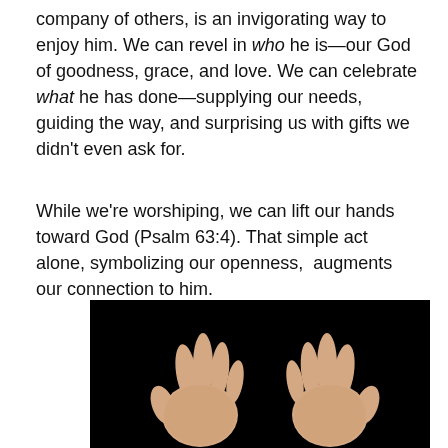company of others, is an invigorating way to enjoy him. We can revel in who he is—our God of goodness, grace, and love. We can celebrate what he has done—supplying our needs, guiding the way, and surprising us with gifts we didn't even ask for.
While we're worshiping, we can lift our hands toward God (Psalm 63:4). That simple act alone, symbolizing our openness,  augments our connection to him.
[Figure (photo): Two hands raised upward with palms facing forward against a black background, suggesting worship or openness.]